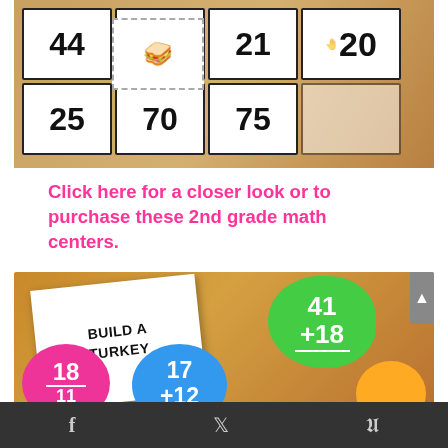[Figure (photo): Photo of number cards laid on a wooden surface showing large numbers like 44, 18, 21, 20, 75, 70, 25, and a hand holding one card. Small food illustrations visible on some cards.]
Click here for a closer look or to purchase these 2nd grade math centers.
[Figure (photo): Photo of a 'Build a Turkey' math activity worksheet on a wooden surface, with colorful blob-shaped cards in green (41+18), pink (18-11), blue (17+12), and yellow colors showing addition and subtraction problems.]
f  y  p